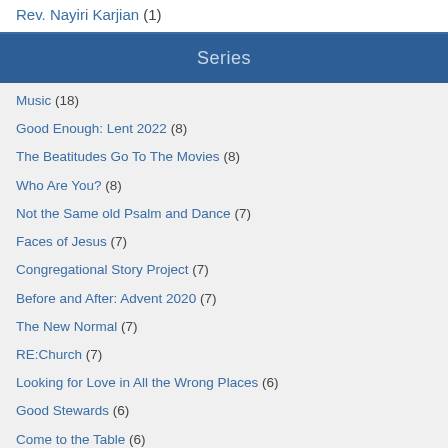Rev. Nayiri Karjian (1)
Series
Music (18)
Good Enough: Lent 2022 (8)
The Beatitudes Go To The Movies (8)
Who Are You? (8)
Not the Same old Psalm and Dance (7)
Faces of Jesus (7)
Congregational Story Project (7)
Before and After: Advent 2020 (7)
The New Normal (7)
RE:Church (7)
Looking for Love in All the Wrong Places (6)
Good Stewards (6)
Come to the Table (6)